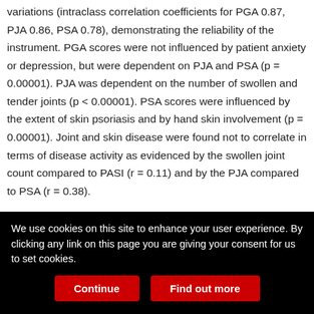variations (intraclass correlation coefficients for PGA 0.87, PJA 0.86, PSA 0.78), demonstrating the reliability of the instrument. PGA scores were not influenced by patient anxiety or depression, but were dependent on PJA and PSA (p = 0.00001). PJA was dependent on the number of swollen and tender joints (p < 0.00001). PSA scores were influenced by the extent of skin psoriasis and by hand skin involvement (p = 0.00001). Joint and skin disease were found not to correlate in terms of disease activity as evidenced by the swollen joint count compared to PASI (r = 0.11) and by the PJA compared to PSA (r = 0.38).
Conclusion. PGA assessed by means of VAS is a reliable tool related to joint and skin disease activity. Because joint and skin disease often diverge it is suggested that in some circumstances
We use cookies on this site to enhance your user experience. By clicking any link on this page you are giving your consent for us to set cookies.